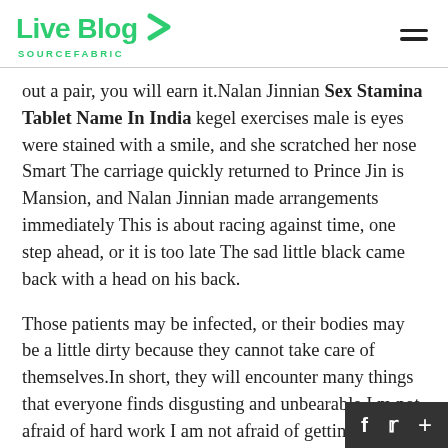Live Blog SOURCEFABRIC
out a pair, you will earn it.Nalan Jinnian Sex Stamina Tablet Name In India kegel exercises male is eyes were stained with a smile, and she scratched her nose Smart The carriage quickly returned to Prince Jin is Mansion, and Nalan Jinnian made arrangements immediately This is about racing against time, one step ahead, or it is too late The sad little black came back with a head on his back.
Those patients may be infected, or their bodies may be a little dirty because they cannot take care of themselves.In short, they will encounter many things that everyone finds disgusting and unbearable I m not afraid of hard work I am not afraid of getting dirty either Human excrement and livestock excrement are also dirty, but those thin indeed good fertilizers for crops I help the village